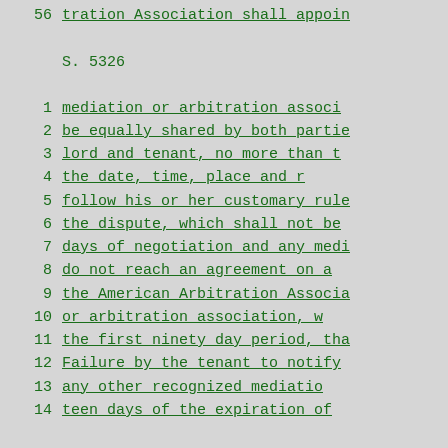56   tration Association shall appoin
S. 5326
1    mediation  or arbitration associ
2    be equally shared by both partie
3    lord  and  tenant,  no more than t
4    the  date,   time,   place  and  r
5    follow his or her customary rule
6    the  dispute,  which  shall  not be
7    days of negotiation and any medi
8    do   not   reach an agreement on a
9    the American Arbitration Associa
10   or  arbitration  association,   w
11   the first ninety day period,  tha
12   Failure  by the tenant to notify
13   any other recognized mediatio
14   teen  days of the expiration  of